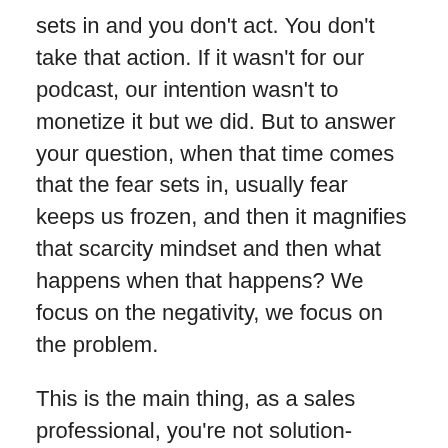sets in and you don't act. You don't take that action. If it wasn't for our podcast, our intention wasn't to monetize it but we did. But to answer your question, when that time comes that the fear sets in, usually fear keeps us frozen, and then it magnifies that scarcity mindset and then what happens when that happens? We focus on the negativity, we focus on the problem.
This is the main thing, as a sales professional, you're not solution-minded. You yourself start that inner dialogue that says this, and I just talked about it this week in a corporate training. You start saying business is slow, man, no opportunities are around me. What's going on? The more you talk about that stuff, guess what? The more you talk about those